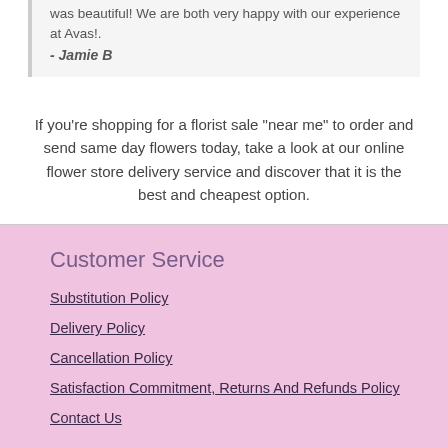was beautiful! We are both very happy with our experience at Avas!.
- Jamie B
If you're shopping for a florist sale "near me" to order and send same day flowers today, take a look at our online flower store delivery service and discover that it is the best and cheapest option.
Customer Service
Substitution Policy
Delivery Policy
Cancellation Policy
Satisfaction Commitment, Returns And Refunds Policy
Contact Us